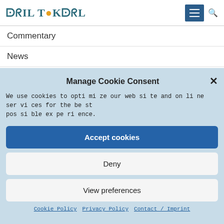[Figure (logo): Asil Toksal website logo with stylized teal lettering and orange dot accent, plus hamburger menu button and search icon]
Commentary
News
Manage Cookie Consent
We use cookies to optimize our website and online services for the best possible experience.
Accept cookies
Deny
View preferences
Cookie Policy   Privacy Policy   Contact / Imprint